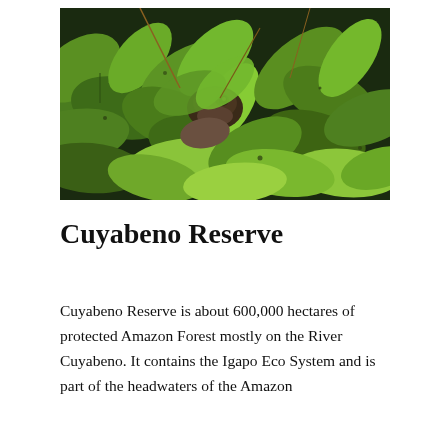[Figure (photo): A close-up photograph of dense green tropical leaves with an animal (possibly a turtle or small mammal) partially visible and camouflaged among the foliage.]
Cuyabeno Reserve
Cuyabeno Reserve is about 600,000 hectares of protected Amazon Forest mostly on the River Cuyabeno. It contains the Igapo Eco System and is part of the headwaters of the Amazon